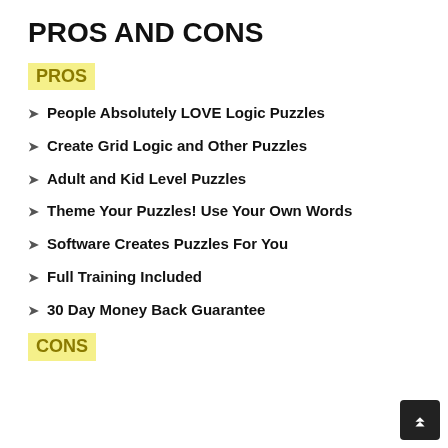PROS AND CONS
PROS
People Absolutely LOVE Logic Puzzles
Create Grid Logic and Other Puzzles
Adult and Kid Level Puzzles
Theme Your Puzzles! Use Your Own Words
Software Creates Puzzles For You
Full Training Included
30 Day Money Back Guarantee
CONS